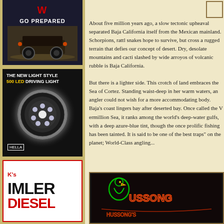[Figure (photo): Winch advertisement showing 'GO PREPARED' text with Jeep on rocky terrain]
[Figure (photo): Hella 500 LED Driving Light advertisement showing round LED light on dark road]
[Figure (photo): Imler Diesel advertisement with red and black logo text]
About five million years ago, a slow tectonic upheaval separated Baja California itself from the Mexican mainland. Scorpions, rattlesnakes hope to survive, but cross a rugged terrain that defies our concept of desert. Dry, desolate mountains and cacti slashed by wide arroyos of volcanic rubble is Baja California.
But there is a lighter side. This crotch of land embraces the Sea of Cortez. Standing waist-deep in her warm waters, an angler could not wish for a more accommodating body. Baja's coastline is dotted bay after deserted bay. Once called the Vermillion Sea, it ranks among the world's deep-water gulfs, with a characteristic azure-blue tint, though the once prolific fishing has been tainted. It is said to be one of the best "traps" on the planet; World-Class angling...
[Figure (photo): Neon sign photo showing colorful bar/restaurant neon sign at night]